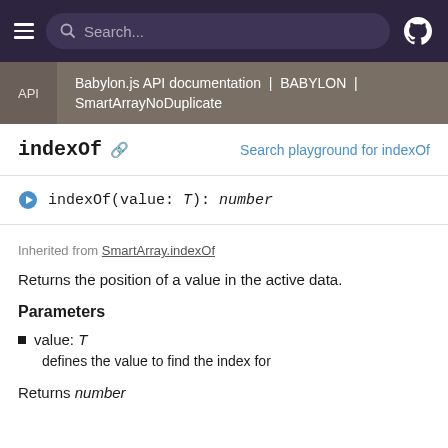Search...
Babylon.js API documentation | BABYLON | SmartArrayNoDuplicate
indexOf
Search playground for indexOf
indexOf(value: T): number
Inherited from SmartArray.indexOf
Returns the position of a value in the active data.
Parameters
value: T
defines the value to find the index for
Returns number